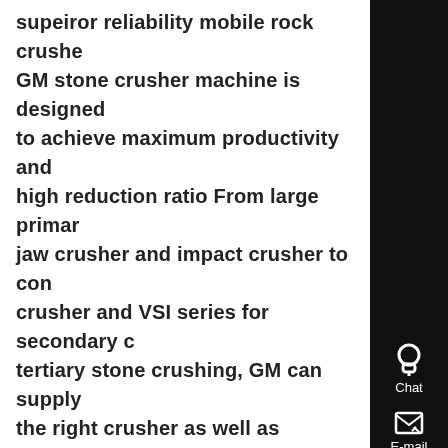supeiror reliability mobile rock crusher GM stone crusher machine is designed to achieve maximum productivity and high reduction ratio From large primary jaw crusher and impact crusher to cone crusher and VSI series for secondary or tertiary stone crushing, GM can supply the right crusher as well as complete crushing plant to meet your material reduction requirements...
[Figure (photo): Thumbnail photo of a rock crushing machine in an industrial setting with red and dark tones]
superior reliability portable rock crusher - Know More
Superior reliability gp series cone crushers have a simple but strong two-point supported shaft design that...